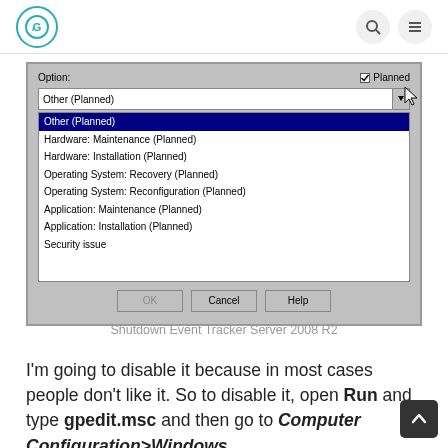Logo and navigation icons
[Figure (screenshot): Windows dialog box showing Shutdown Event Tracker with a dropdown list open. Options listed: Other (Planned) [selected/highlighted in blue], Hardware: Maintenance (Planned), Hardware: Installation (Planned), Operating System: Recovery (Planned), Operating System: Reconfiguration (Planned), Application: Maintenance (Planned), Application: Installation (Planned), Security issue. Buttons: OK (disabled), Cancel, Help.]
Shutdown Event Tracker Server 2008 R2
I'm going to disable it because in most cases people don't like it. So to disable it, open Run and type gpedit.msc and then go to Computer Configuration>Windows Settings>Administrative